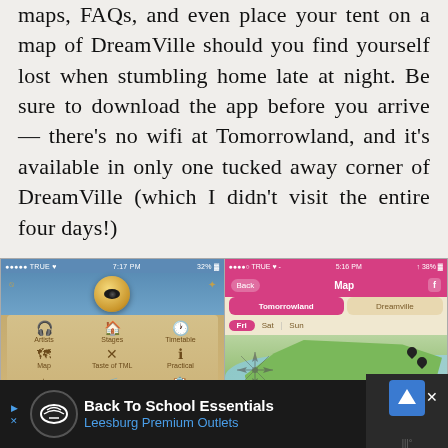maps, FAQs, and even place your tent on a map of DreamVille should you find yourself lost when stumbling home late at night. Be sure to download the app before you arrive — there's no wifi at Tomorrowland, and it's available in only one tucked away corner of DreamVille (which I didn't visit the entire four days!)
[Figure (screenshot): Two smartphone screenshots of the Tomorrowland festival app. Left: Home screen with Tomorrowland logo and menu grid showing Artists, Stages, Timetable, Map, Taste of TML, Practical icons. Right: Map screen showing Tomorrowland/Dreamville tabs, Fri/Sat/Sun day tabs, and an illustrated festival map with location pins.]
[Figure (infographic): Advertisement banner at bottom: Back To School Essentials / Leesburg Premium Outlets with navigation arrow icon and X close button]